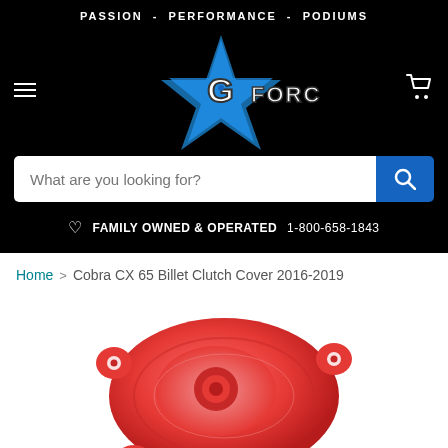PASSION - PERFORMANCE - PODIUMS
[Figure (logo): G Force logo with blue lightning bolt star and distressed text on black background]
What are you looking for?
FAMILY OWNED & OPERATED  1-800-658-1843
Home > Cobra CX 65 Billet Clutch Cover 2016-2019
[Figure (photo): Red billet clutch cover for Cobra CX 65, 2016-2019, shown from above at an angle]